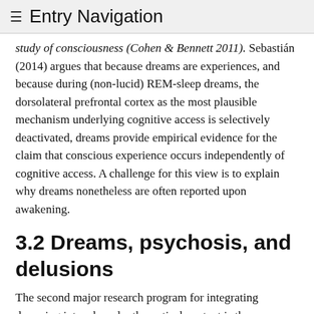≡ Entry Navigation
study of consciousness (Cohen & Bennett 2011). Sebastián (2014) argues that because dreams are experiences, and because during (non-lucid) REM-sleep dreams, the dorsolateral prefrontal cortex as the most plausible mechanism underlying cognitive access is selectively deactivated, dreams provide empirical evidence for the claim that conscious experience occurs independently of cognitive access. A challenge for this view is to explain why dreams nonetheless are often reported upon awakening.
3.2 Dreams, psychosis, and delusions
The second major research program for integrating dreaming into a broader theoretical context is the suggestion of using dreaming as a model of psychotic wake states. The analogy between dreaming and madness has a long philosophical history (Plato, Phaedrus; Kant 1766; Schopenhauer 1847). It is continued in Hobson's